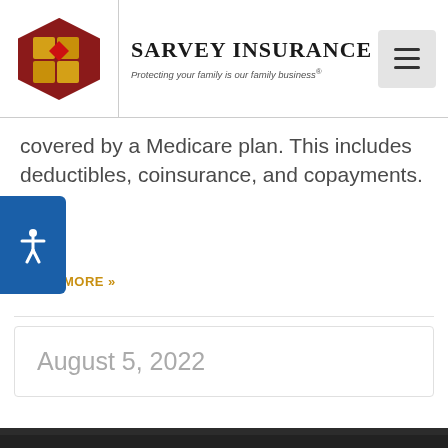Sarvey Insurance — Protecting your family is our family business®
covered by a Medicare plan. This includes deductibles, coinsurance, and copayments. If
READ MORE »
August 5, 2022
[Figure (photo): Dark background photo showing people in professional setting]